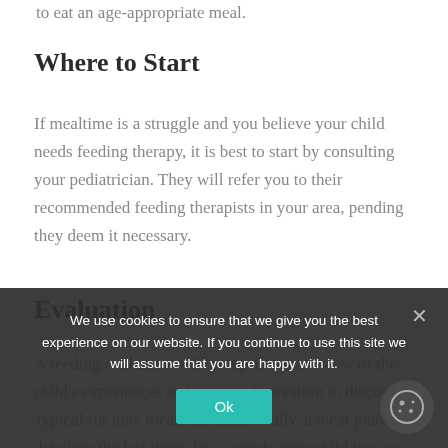to eat an age-appropriate meal.
Where to Start
If mealtime is a struggle and you believe your child needs feeding therapy, it is best to start by consulting your pediatrician. They will refer you to their recommended feeding therapists in your area, pending they deem it necessary.
Evaluation
A feeding evaluation will comprise of a review of the child's experiences and a meal observation to discuss 'typical for him' meal, and additionally, a meal journal detailing the last three days of meals your child has wa…